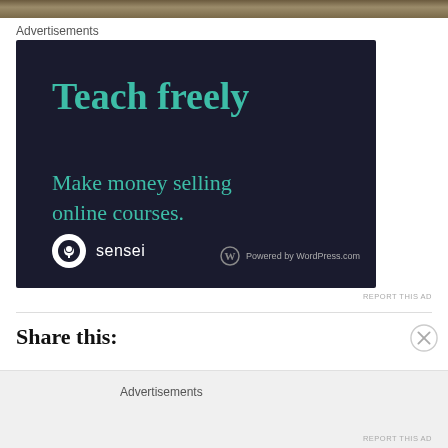[Figure (photo): Partial top strip of an outdoor photo, likely showing a path or ground with sticks/rocks]
Advertisements
[Figure (illustration): Dark navy advertisement banner for Sensei platform. Large teal text reads 'Teach freely' with subtitle 'Make money selling online courses.' Sensei logo (tree in circle) and 'Powered by WordPress.com' badge at bottom.]
REPORT THIS AD
Share this:
Advertisements
REPORT THIS AD